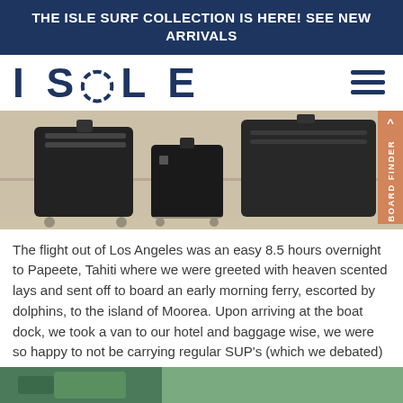THE ISLE SURF COLLECTION IS HERE! SEE NEW ARRIVALS
[Figure (logo): ISLE brand logo in dark navy blue block letters]
[Figure (photo): Black luggage and bags sitting on a light-colored floor at an airport or hotel]
The flight out of Los Angeles was an easy 8.5 hours overnight to Papeete, Tahiti where we were greeted with heaven scented lays and sent off to board an early morning ferry, escorted by dolphins, to the island of Moorea. Upon arriving at the boat dock, we took a van to our hotel and baggage wise, we were so happy to not be carrying regular SUP's (which we debated) – the inflatables transported easily from plane to boat to van.
[Figure (photo): Partial bottom image showing a green outdoor/water scene]